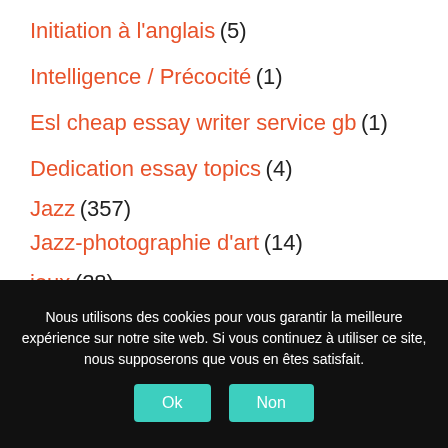Initiation à l'anglais (5)
Intelligence / Précocité (1)
Esl cheap essay writer service gb (1)
Dedication essay topics (4)
Jazz (357)
Jazz-photographie d'art (14)
jeux (28)
Nous utilisons des cookies pour vous garantir la meilleure expérience sur notre site web. Si vous continuez à utiliser ce site, nous supposerons que vous en êtes satisfait.